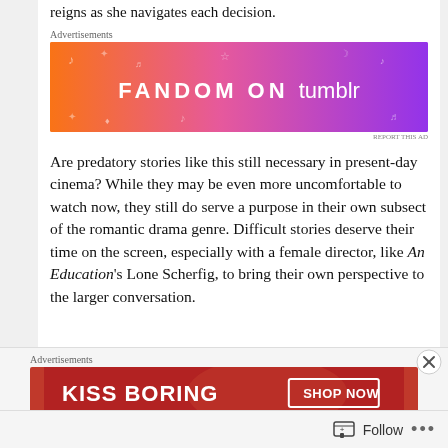reigns as she navigates each decision.
Advertisements
[Figure (illustration): Fandom on Tumblr advertisement banner with colorful orange to purple gradient background and white text reading FANDOM ON tumblr]
Are predatory stories like this still necessary in present-day cinema? While they may be even more uncomfortable to watch now, they still do serve a purpose in their own subsect of the romantic drama genre. Difficult stories deserve their time on the screen, especially with a female director, like An Education's Lone Scherfig, to bring their own perspective to the larger conversation.
Advertisements
[Figure (illustration): Kiss Boring advertisement banner with red background, white text reading KISS BORING and a SHOP NOW button]